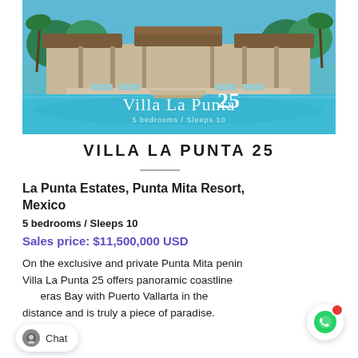[Figure (photo): Aerial/front view of Villa La Punta 25 showing a luxury villa with pool, thatched roof accents, and turquoise water. Text overlay reads 'Villa La Punta 25' and '5 bedrooms / Sleeps 10'.]
VILLA LA PUNTA 25
La Punta Estates, Punta Mita Resort, Mexico
5 bedrooms / Sleeps 10
Sales price: $11,500,000 USD
On the exclusive and private Punta Mita penin Villa La Punta 25 offers panoramic coastline eras Bay with Puerto Vallarta in the distance and is truly a piece of paradise.